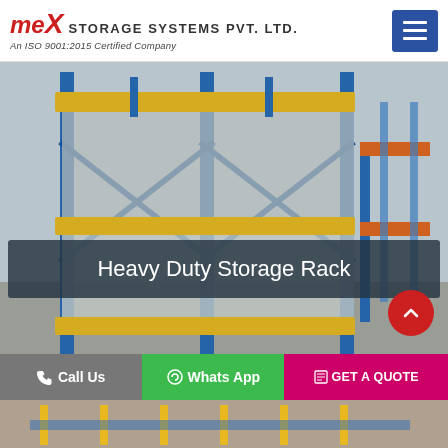[Figure (logo): MEX Storage Systems Pvt. Ltd. logo with red italic MEX text and tagline 'An ISO 9001:2015 Certified Company']
[Figure (photo): Heavy duty industrial storage rack with blue steel frame and yellow horizontal beams, multiple shelf levels in a warehouse setting]
Heavy Duty Storage Rack
Call Us
Whats App
GET A QUOTE
[Figure (photo): Partial bottom strip showing another storage rack image]